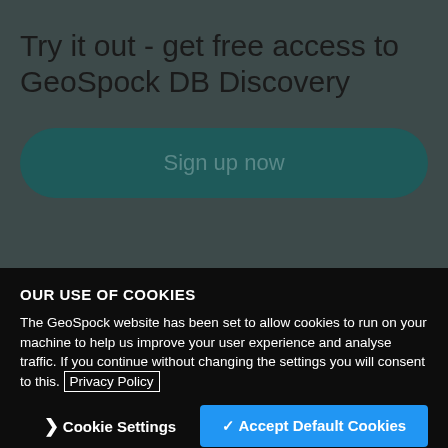Try it out - get free access to GeoSpock DB Discovery
Sign up now
OUR USE OF COOKIES
The GeoSpock website has been set to allow cookies to run on your machine to help us improve your user experience and analyse traffic. If you continue without changing the settings you will consent to this. Privacy Policy
❯ Cookie Settings
✓ Accept Default Cookies